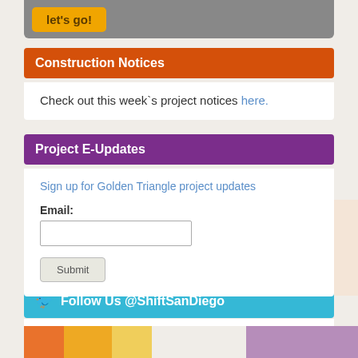[Figure (screenshot): Gray bar with orange 'let's go!' button at top]
Construction Notices
Check out this week`s project notices here.
Project E-Updates
Sign up for Golden Triangle project updates
Email:
Submit
Follow Us @ShiftSanDiego
ShiftSanDiego